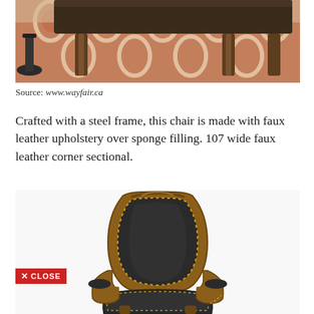[Figure (photo): Top portion of a photo showing furniture legs (sofa/ottoman) on a patterned red and cream geometric rug, with a lamp base visible on the left]
Source: www.wayfair.ca
Crafted with a steel frame, this chair is made with faux leather upholstery over sponge filling. 107 wide faux leather corner sectional.
[Figure (photo): A classic wooden armchair with dark black/charcoal leather upholstery, carved wooden frame in warm brown, brass nail head trim, and curved arms — shown from a slight angle with a red 'X CLOSE' button overlaid at bottom left]